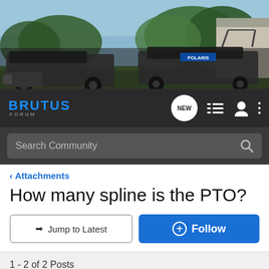[Figure (photo): Hero banner image showing two Polaris Brutus utility vehicles outdoors near a building and trees]
BRUTUS FORUM — navigation bar with NEW button, list icon, user icon, and menu dots
Search Community
< Attachments
How many spline is the PTO?
→ Jump to Latest
+ Follow
1 - 2 of 2 Posts
sprsnk · Registered
Joined Sep 6, 2014 · 21 Posts